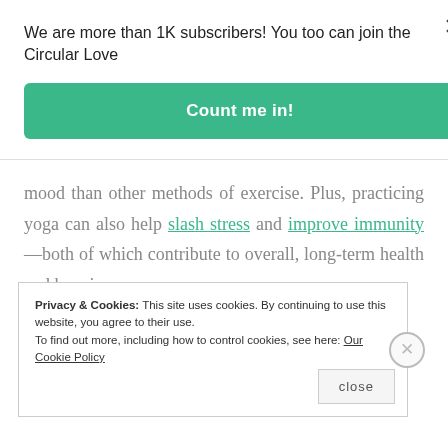We are more than 1K subscribers! You too can join the Circular Love
Count me in!
mood than other methods of exercise. Plus, practicing yoga can also help slash stress and improve immunity—both of which contribute to overall, long-term health and happiness.
Privacy & Cookies: This site uses cookies. By continuing to use this website, you agree to their use. To find out more, including how to control cookies, see here: Our Cookie Policy
close